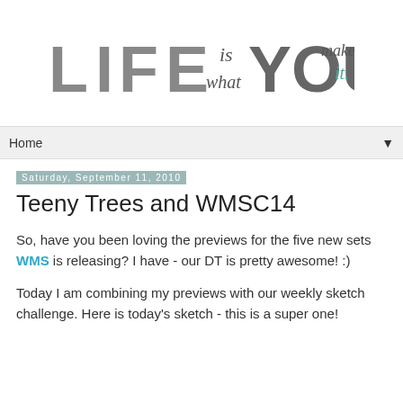[Figure (logo): Blog header logo reading 'LIFE is what YOU make it.' in stylized gray and teal lettering]
Home ▼
Saturday, September 11, 2010
Teeny Trees and WMSC14
So, have you been loving the previews for the five new sets WMS is releasing? I have - our DT is pretty awesome! :)
Today I am combining my previews with our weekly sketch challenge. Here is today's sketch - this is a super one!